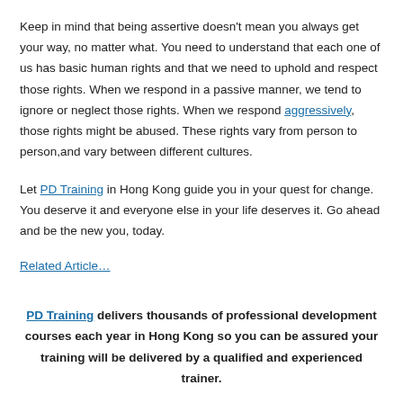Keep in mind that being assertive doesn't mean you always get your way, no matter what. You need to understand that each one of us has basic human rights and that we need to uphold and respect those rights. When we respond in a passive manner, we tend to ignore or neglect those rights. When we respond aggressively, those rights might be abused. These rights vary from person to person,and vary between different cultures.
Let PD Training in Hong Kong guide you in your quest for change. You deserve it and everyone else in your life deserves it. Go ahead and be the new you, today.
Related Article…
PD Training delivers thousands of professional development courses each year in Hong Kong so you can be assured your training will be delivered by a qualified and experienced trainer.